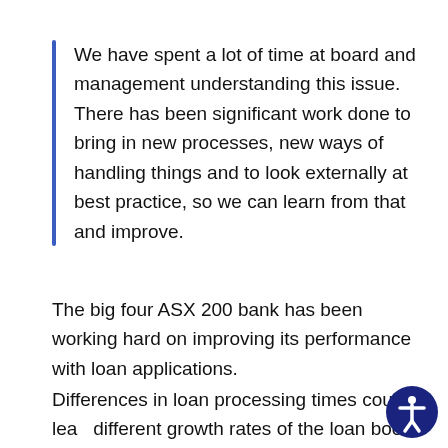We have spent a lot of time at board and management understanding this issue. There has been significant work done to bring in new processes, new ways of handling things and to look externally at best practice, so we can learn from that and improve.
The big four ASX 200 bank has been working hard on improving its performance with loan applications.
Differences in loan processing times could lead to different growth rates of the loan book for the